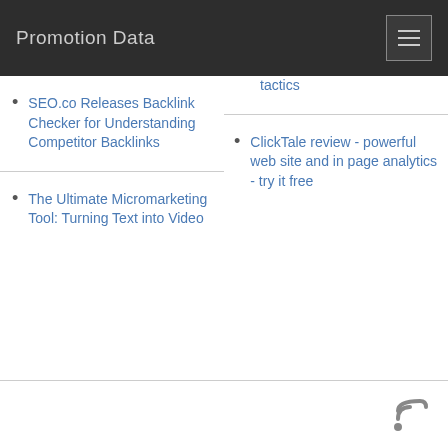Promotion Data
SEO.co Releases Backlink Checker for Understanding Competitor Backlinks
The Ultimate Micromarketing Tool: Turning Text into Video
tactics
ClickTale review - powerful web site and in page analytics - try it free